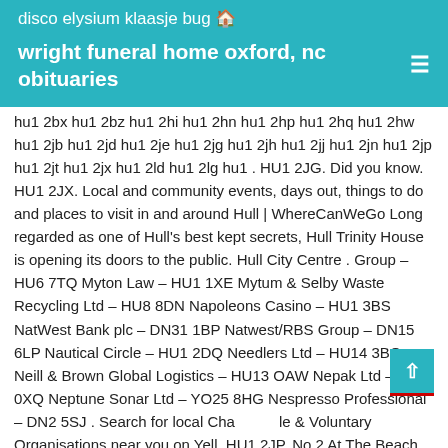disco elysium klaasje bug 🏠
wright funeral home oxford, nc obituaries ≡
hu1 2bx hu1 2bz hu1 2hi hu1 2hn hu1 2hp hu1 2hq hu1 2hw hu1 2jb hu1 2jd hu1 2je hu1 2jg hu1 2jh hu1 2jj hu1 2jn hu1 2jp hu1 2jt hu1 2jx hu1 2ld hu1 2lg hu1 . HU1 2JG. Did you know. HU1 2JX. Local and community events, days out, things to do and places to visit in and around Hull | WhereCanWeGo Long regarded as one of Hull's best kept secrets, Hull Trinity House is opening its doors to the public. Hull City Centre . Group - HU6 7TQ Myton Law - HU1 1XE Mytum & Selby Waste Recycling Ltd - HU8 8DN Napoleons Casino - HU1 3BS NatWest Bank plc - DN31 1BP Natwest/RBS Group - DN15 6LP Nautical Circle - HU1 2DQ Needlers Ltd - HU14 3BQ Neill & Brown Global Logistics - HU13 OAW Nepak Ltd - HU7 0XQ Neptune Sonar Ltd - YO25 8HG Nespresso Professional - DN2 5SJ . Search for local Charitable & Voluntary Organisations near you on Yell. HU1 2JP. No 2 At The Beach, 13 Hessle Road, Hull, East Riding, England, HU1 1TH